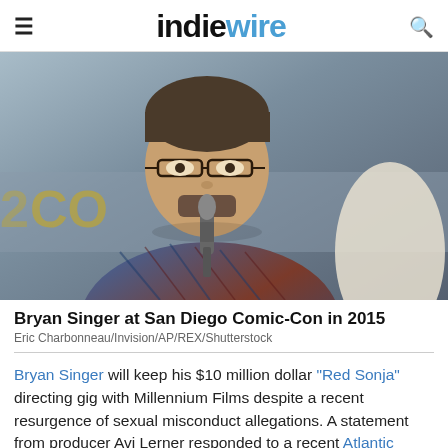IndieWire
[Figure (photo): Bryan Singer at San Diego Comic-Con in 2015, a man with glasses and a plaid shirt speaking into a microphone at a panel event.]
Bryan Singer at San Diego Comic-Con in 2015
Eric Charbonneau/Invision/AP/REX/Shutterstock
Bryan Singer will keep his $10 million dollar “Red Sonja” directing gig with Millennium Films despite a recent resurgence of sexual misconduct allegations. A statement from producer Avi Lerner responded to a recent Atlantic exposé alleging years of abuse of underage boys at the